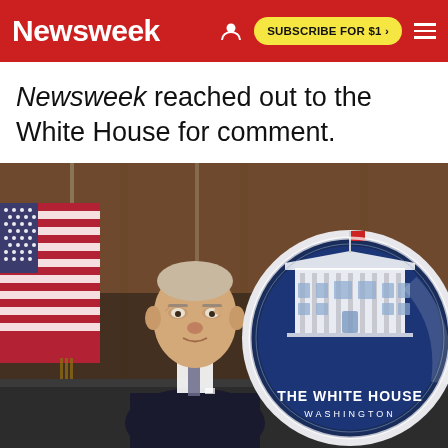Newsweek | SUBSCRIBE FOR $1 >
Newsweek reached out to the White House for comment.
[Figure (photo): President Biden seated at a table with an American flag behind him and The White House Washington seal visible to his right, pointing finger to his temple.]